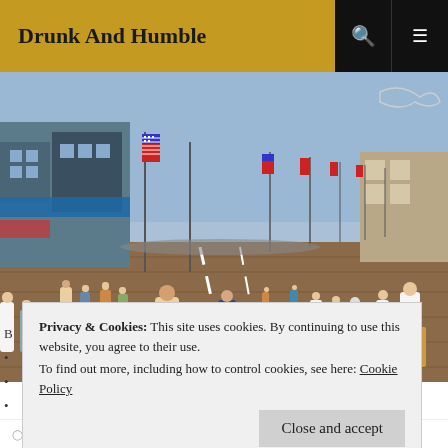Drunk And Humble
[Figure (photo): Crowded beachside boardwalk with people walking, American flag banners on poles, shops on the left side, sunny day.]
Privacy & Cookies: This site uses cookies. By continuing to use this website, you agree to their use. To find out more, including how to control cookies, see here: Cookie Policy
APRIL 24, 2017  J-MONEY  2 COMMENTS